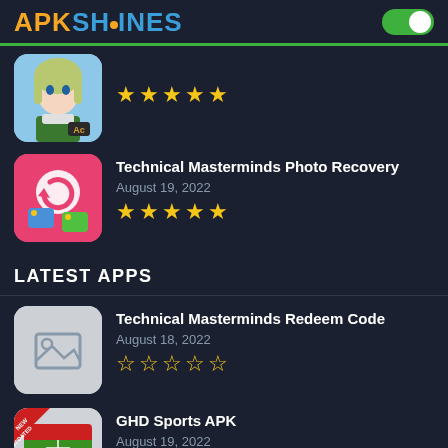APK SHINES
[Figure (screenshot): App listing item with anime character icon, 5 gold stars rating]
Technical Masterminds Photo Recovery
August 19, 2022
★★★★★
LATEST APPS
Technical Masterminds Redeem Code
August 18, 2022
☆☆☆☆☆
GHD Sports APK
August 19, 2022
★★★★★